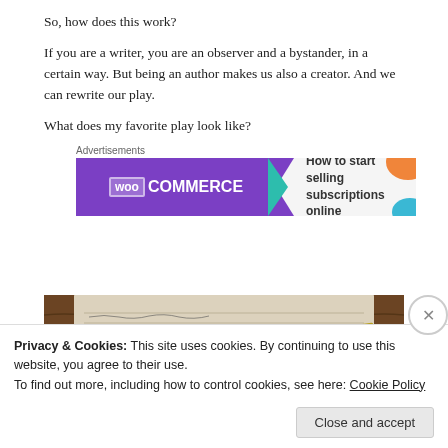So, how does this work?
If you are a writer, you are an observer and a bystander, in a certain way. But being an author makes us also a creator. And we can rewrite our play.
What does my favorite play look like?
[Figure (other): WooCommerce advertisement banner: purple background on left with WooCommerce logo and teal arrow, white/grey right side with text 'How to start selling subscriptions online', orange and blue decorative shapes]
[Figure (photo): Close-up photograph of a handwritten notebook or journal page, with a pen visible, resting on a wooden surface]
Privacy & Cookies: This site uses cookies. By continuing to use this website, you agree to their use.
To find out more, including how to control cookies, see here: Cookie Policy
Close and accept